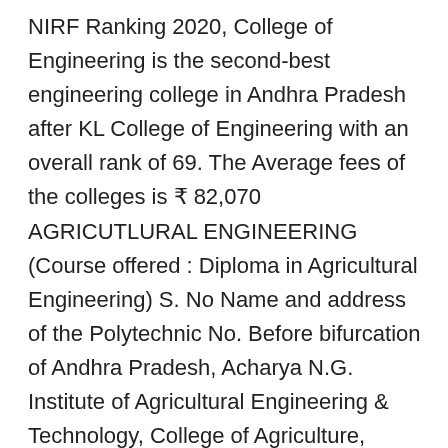NIRF Ranking 2020, College of Engineering is the second-best engineering college in Andhra Pradesh after KL College of Engineering with an overall rank of 69. The Average fees of the colleges is ₹ 82,070 AGRICUTLURAL ENGINEERING (Course offered : Diploma in Agricultural Engineering) S. No Name and address of the Polytechnic No. Before bifurcation of Andhra Pradesh, Acharya N.G. Institute of Agricultural Engineering & Technology, College of Agriculture, Rajendranagar, Hyderabad 500 030. Through practical experience in the College workshops, as well as working on machinery restoration projects for local farmers, students gain an in-depth understanding of the skills they need to work within the Agricultural engineering industry. Krishna; Kurnool (40) Chittoor (10) Guntur (9) Prakashm (9) … List of top engineering colleges for B.Tech in Mechanical and C Top 7 Agricultural Engineering